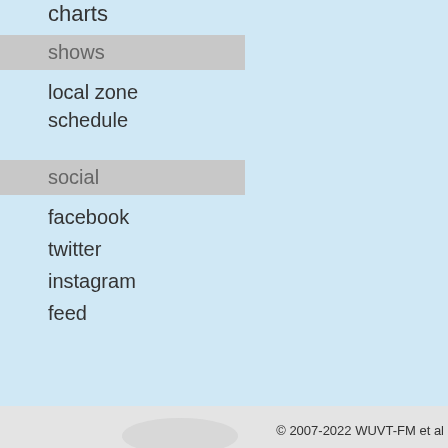charts
shows
local zone
schedule
social
facebook
twitter
instagram
feed
| Time | Artist |
| --- | --- |
| 17:05:40 | Unknown Mortal O… |
| 17:08:28 | 🔥 Jamila Woods |
| 17:12:46 | Tennis |
| 17:16:10 | Chasity Belt |
| 17:23:34 | Mitski |
| 17:27:27 | Iron & Wine |
| 17:30:30 | 🔥 Curtis Harding |
| 17:35:11 | Ms. Lauryn Hill |
| 17:39:43 | Blonde Redhead |
| 17:44:19 | Beach Fossils |
| 17:51:31 | Solange |
| 17:52:25 | Amy Winehouse |
| 17:56:19 | Jill Scott Ft. The Brothers |
| 18:01:22 | Blood Orange |
© 2007-2022 WUVT-FM et al